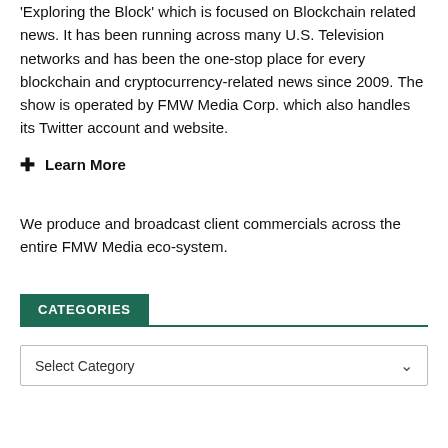'Exploring the Block' which is focused on Blockchain related news. It has been running across many U.S. Television networks and has been the one-stop place for every blockchain and cryptocurrency-related news since 2009. The show is operated by FMW Media Corp. which also handles its Twitter account and website.
+ Learn More
We produce and broadcast client commercials across the entire FMW Media eco-system.
CATEGORIES
Select Category